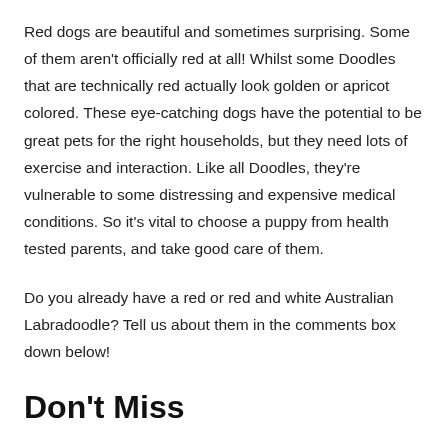Red dogs are beautiful and sometimes surprising. Some of them aren't officially red at all! Whilst some Doodles that are technically red actually look golden or apricot colored. These eye-catching dogs have the potential to be great pets for the right households, but they need lots of exercise and interaction. Like all Doodles, they're vulnerable to some distressing and expensive medical conditions. So it's vital to choose a puppy from health tested parents, and take good care of them.
Do you already have a red or red and white Australian Labradoodle? Tell us about them in the comments box down below!
Don't Miss
Don't miss your chance to find out about these other Doodle